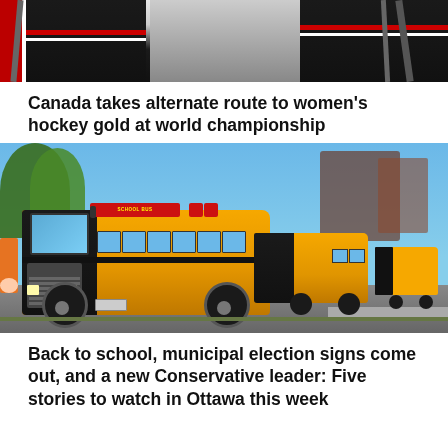[Figure (photo): Hockey players in black and red jerseys holding sticks, cropped at waist level]
Canada takes alternate route to women's hockey gold at world championship
[Figure (photo): A line of yellow school buses on a road with trees and blue sky in the background, with people visible on the left side]
Back to school, municipal election signs come out, and a new Conservative leader: Five stories to watch in Ottawa this week